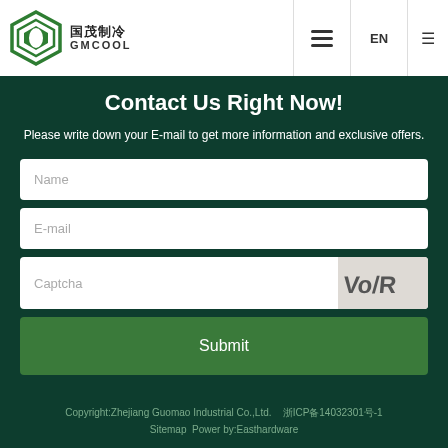GMCOOL 国茂制冷 — EN
Contact Us Right Now!
Please write down your E-mail to get more information and exclusive offers.
Name
E-mail
Captcha
Submit
Copyright:Zhejiang Guomao Industrial Co.,Ltd.  浙ICP备14032301号-1  Sitemap  Power by:Easthardware